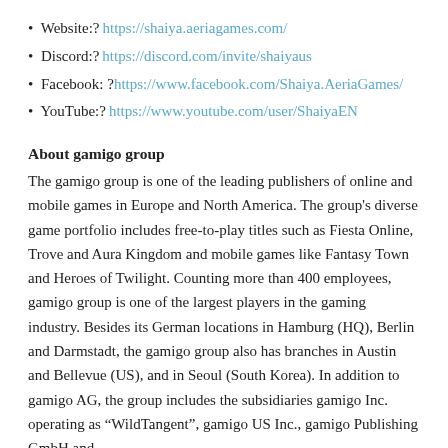Website:? https://shaiya.aeriagames.com/
Discord:? https://discord.com/invite/shaiyaus
Facebook: ?https://www.facebook.com/Shaiya.AeriaGames/
YouTube:? https://www.youtube.com/user/ShaiyaEN
About gamigo group
The gamigo group is one of the leading publishers of online and mobile games in Europe and North America. The group's diverse game portfolio includes free-to-play titles such as Fiesta Online, Trove and Aura Kingdom and mobile games like Fantasy Town and Heroes of Twilight. Counting more than 400 employees, gamigo group is one of the largest players in the gaming industry. Besides its German locations in Hamburg (HQ), Berlin and Darmstadt, the gamigo group also has branches in Austin and Bellevue (US), and in Seoul (South Korea). In addition to gamigo AG, the group includes the subsidiaries gamigo Inc. operating as “WildTangent”, gamigo US Inc., gamigo Publishing GmbH and